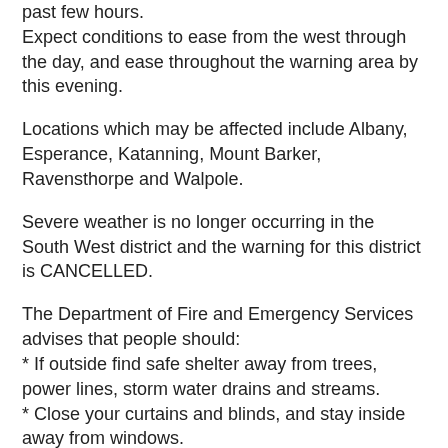past few hours. Expect conditions to ease from the west through the day, and ease throughout the warning area by this evening.
Locations which may be affected include Albany, Esperance, Katanning, Mount Barker, Ravensthorpe and Walpole.
Severe weather is no longer occurring in the South West district and the warning for this district is CANCELLED.
The Department of Fire and Emergency Services advises that people should:
* If outside find safe shelter away from trees, power lines, storm water drains and streams.
* Close your curtains and blinds, and stay inside away from windows.
* Unplug electrical appliances and do not use land line telephones if there is lightning.
* If boating, swimming or surfing leave the water.
* Be alert and watch for hazards on the road such as fallen power lines and loose debris.
* Keep away from flooded drains, rivers, streams and waterways.
* Be careful of fallen trees, damaged buildings and debris.
* Be careful of fallen power lines. They are dangerous and should